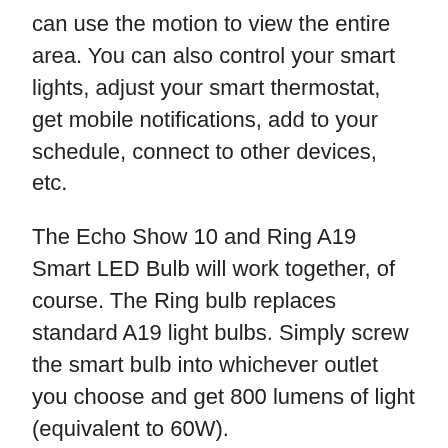can use the motion to view the entire area. You can also control your smart lights, adjust your smart thermostat, get mobile notifications, add to your schedule, connect to other devices, etc.
The Echo Show 10 and Ring A19 Smart LED Bulb will work together, of course. The Ring bulb replaces standard A19 light bulbs. Simply screw the smart bulb into whichever outlet you choose and get 800 lumens of light (equivalent to 60W).
Take $64.99 off this bundle with the speaker in either Charcoal or Glacier White and pay just $199.